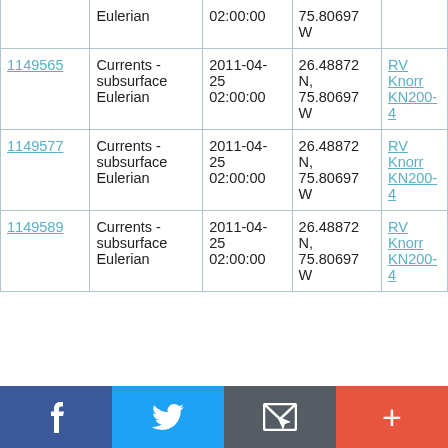|  | Eulerian | 02:00:00 | 75.80697 W |  |
| 1149565 | Currents - subsurface Eulerian | 2011-04-25 02:00:00 | 26.48872 N, 75.80697 W | RV Knorr KN200-4 |
| 1149577 | Currents - subsurface Eulerian | 2011-04-25 02:00:00 | 26.48872 N, 75.80697 W | RV Knorr KN200-4 |
| 1149589 | Currents - subsurface Eulerian | 2011-04-25 02:00:00 | 26.48872 N, 75.80697 W | RV Knorr KN200-4 |
Social share bar: Facebook, Twitter, Email, Plus